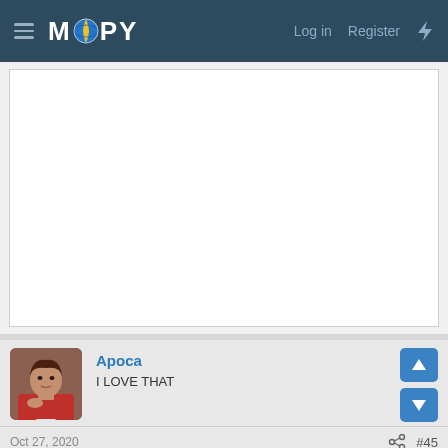MOOPY — Log in | Register
[Figure (screenshot): White advertisement/content area placeholder box]
Apoca
I LOVE THAT
Oct 27, 2020  #45